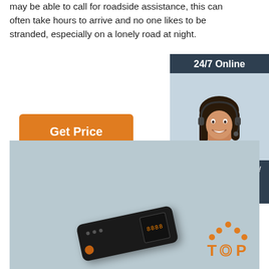may be able to call for roadside assistance, this can often take hours to arrive and no one likes to be stranded, especially on a lonely road at night.
[Figure (illustration): Orange 'Get Price' button]
[Figure (illustration): Sidebar with '24/7 Online' heading, customer service agent photo, 'Click here for free chat!' text, and orange QUOTATION button]
[Figure (photo): Product photo of a small black portable device (tire inflator/jump starter) on a light blue-gray background, with orange TOP logo in corner]